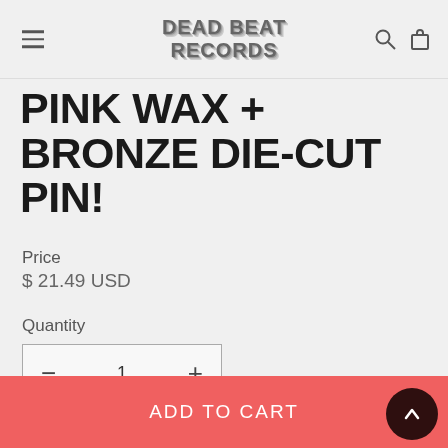Dead Beat Records
PINK WAX + BRONZE DIE-CUT PIN!
Price
$ 21.49 USD
Quantity
1
ADD TO CART